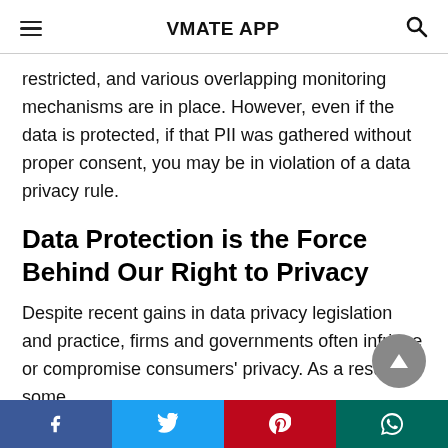VMATE APP
restricted, and various overlapping monitoring mechanisms are in place. However, even if the data is protected, if that PII was gathered without proper consent, you may be in violation of a data privacy rule.
Data Protection is the Force Behind Our Right to Privacy
Despite recent gains in data privacy legislation and practice, firms and governments often infringe or compromise consumers' privacy. As a result, some